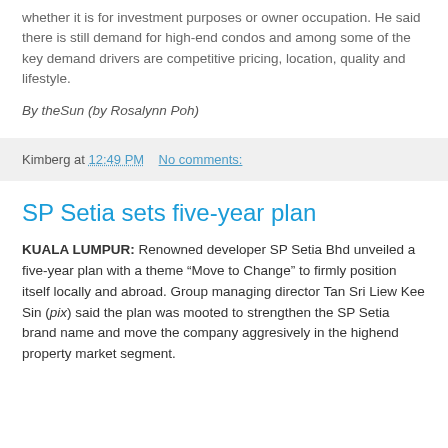whether it is for investment purposes or owner occupation. He said there is still demand for high-end condos and among some of the key demand drivers are competitive pricing, location, quality and lifestyle.
By theSun (by Rosalynn Poh)
Kimberg at 12:49 PM   No comments:
SP Setia sets five-year plan
KUALA LUMPUR: Renowned developer SP Setia Bhd unveiled a five-year plan with a theme “Move to Change” to firmly position itself locally and abroad. Group managing director Tan Sri Liew Kee Sin (pix) said the plan was mooted to strengthen the SP Setia brand name and move the company aggresively in the highend property market segment.